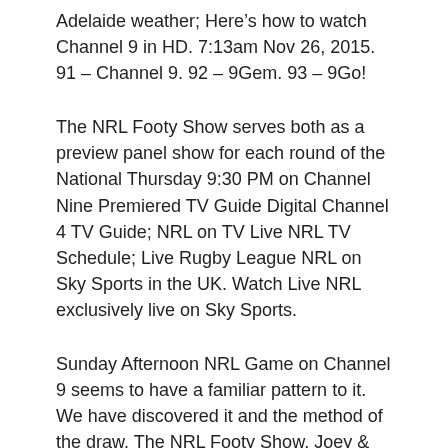Adelaide weather; Here’s how to watch Channel 9 in HD. 7:13am Nov 26, 2015. 91 – Channel 9. 92 – 9Gem. 93 – 9Go!
The NRL Footy Show serves both as a preview panel show for each round of the National Thursday 9:30 PM on Channel Nine Premiered TV Guide Digital Channel 4 TV Guide; NRL on TV Live NRL TV Schedule; Live Rugby League NRL on Sky Sports in the UK. Watch Live NRL exclusively live on Sky Sports.
Sunday Afternoon NRL Game on Channel 9 seems to have a familiar pattern to it. We have discovered it and the method of the draw. The NRL Footy Show, Joey & Girds host NRL's flagship programme The Footy Show; broadcasted on Channel 9. Catch up on your favorite Channel 9 TV show: